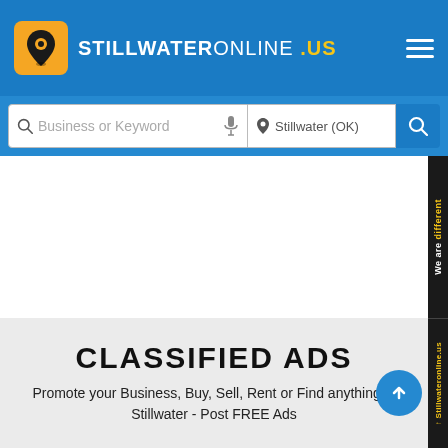STILLWATERONLINE .US
Business or Keyword | Stillwater (OK)
CLASSIFIED ADS
Promote your Business, Buy, Sell, Rent or Find anything in Stillwater - Post FREE Ads
We are different | Stillwateronline.us